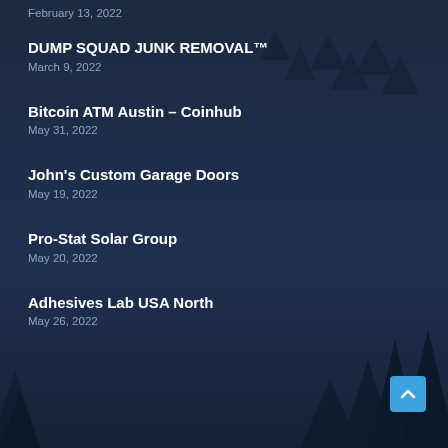February 13, 2022
DUMP SQUAD JUNK REMOVAL™
March 9, 2022
Bitcoin ATM Austin – Coinhub
May 31, 2022
John's Custom Garage Doors
May 19, 2022
Pro-Stat Solar Group
May 20, 2022
Adhesives Lab USA North
May 26, 2022